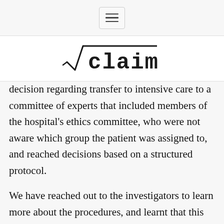[hamburger menu button]
[Figure (logo): √claim logo — square root symbol followed by 'claim' in monospace/typewriter font]
decision regarding transfer to intensive care to a committee of experts that included members of the hospital's ethics committee, who were not aware which group the patient was assigned to, and reached decisions based on a structured protocol.
We have reached out to the investigators to learn more about the procedures, and learnt that this was a result of logistic problems in placebo manufacturing. We